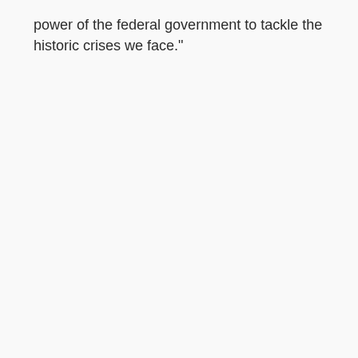power of the federal government to tackle the historic crises we face."